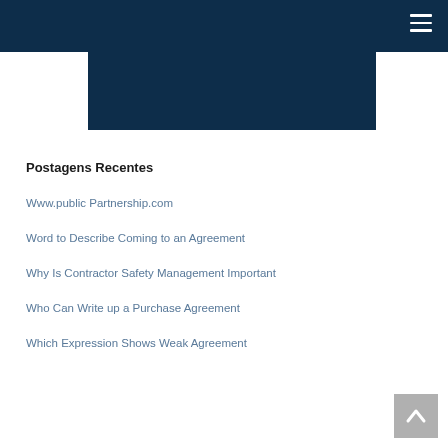Postagens Recentes
Www.public Partnership.com
Word to Describe Coming to an Agreement
Why Is Contractor Safety Management Important
Who Can Write up a Purchase Agreement
Which Expression Shows Weak Agreement